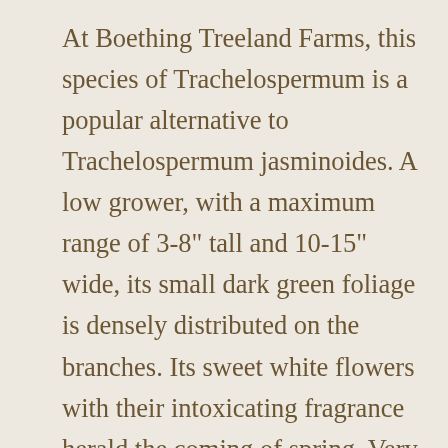At Boething Treeland Farms, this species of Trachelospermum is a popular alternative to Trachelospermum jasminoides. A low grower, with a maximum range of 3-8" tall and 10-15" wide, its small dark green foliage is densely distributed on the branches. Its sweet white flowers with their intoxicating fragrance herald the coming of spring. Very versatile, it can amble up a vertical support or simply spreading along the ground, making it a superb choice for raised beds, borders, under trees, up fences on trellises. Successful in Western